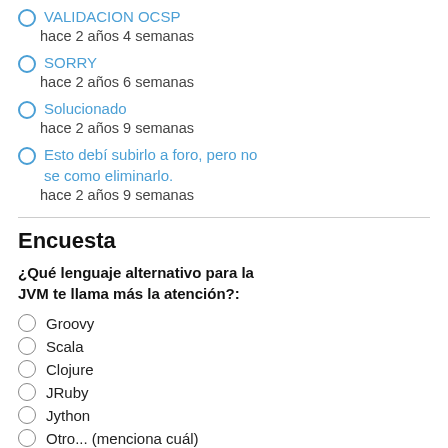VALIDACION OCSP
hace 2 años 4 semanas
SORRY
hace 2 años 6 semanas
Solucionado
hace 2 años 9 semanas
Esto debí subirlo a foro, pero no se como eliminarlo.
hace 2 años 9 semanas
Encuesta
¿Qué lenguaje alternativo para la JVM te llama más la atención?:
Groovy
Scala
Clojure
JRuby
Jython
Otro... (menciona cuál)